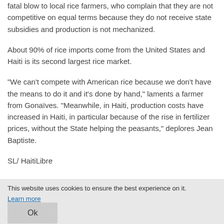fatal blow to local rice farmers, who complain that they are not competitive on equal terms because they do not receive state subsidies and production is not mechanized.
About 90% of rice imports come from the United States and Haiti is its second largest rice market.
"We can't compete with American rice because we don't have the means to do it and it's done by hand," laments a farmer from Gonaïves. "Meanwhile, in Haiti, production costs have increased in Haiti, in particular because of the rise in fertilizer prices, without the State helping the peasants," deplores Jean Baptiste.
SL/ HaitiLibre
This website uses cookies to ensure the best experience on it. Ok Learn more